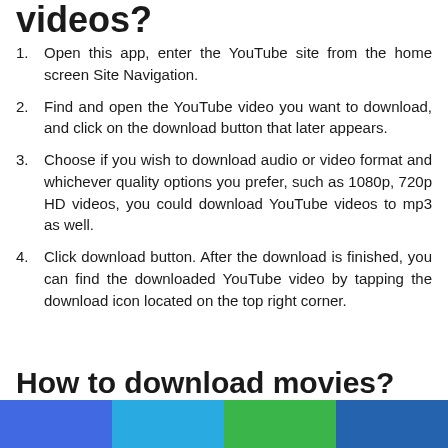videos?
Open this app, enter the YouTube site from the home screen Site Navigation.
Find and open the YouTube video you want to download, and click on the download button that later appears.
Choose if you wish to download audio or video format and whichever quality options you prefer, such as 1080p, 720p HD videos, you could download YouTube videos to mp3 as well.
Click download button. After the download is finished, you can find the downloaded YouTube video by tapping the download icon located on the top right corner.
How to download movies?